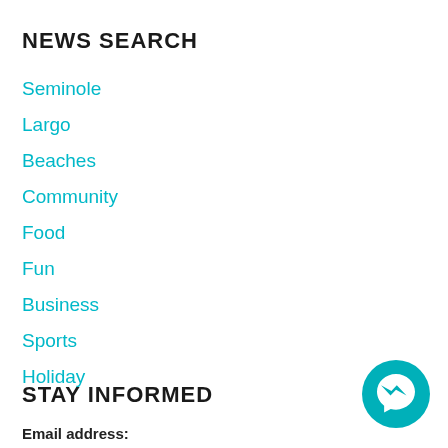NEWS SEARCH
Seminole
Largo
Beaches
Community
Food
Fun
Business
Sports
Holiday
STAY INFORMED
Email address:
[Figure (illustration): Facebook Messenger chat button icon — teal circle with white lightning bolt/chat logo]